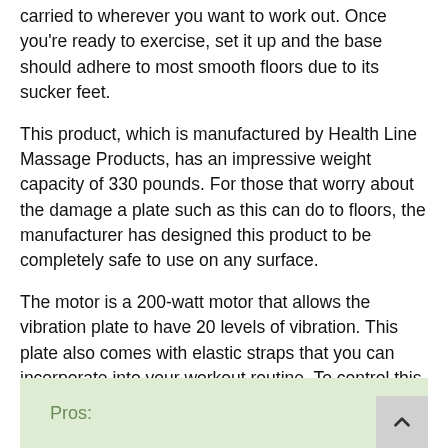carried to wherever you want to work out. Once you're ready to exercise, set it up and the base should adhere to most smooth floors due to its sucker feet.
This product, which is manufactured by Health Line Massage Products, has an impressive weight capacity of 330 pounds. For those that worry about the damage a plate such as this can do to floors, the manufacturer has designed this product to be completely safe to use on any surface.
The motor is a 200-watt motor that allows the vibration plate to have 20 levels of vibration. This plate also comes with elastic straps that you can incorporate into your workout routine. To control this product, you simply have to use the included remote control.
Pros: